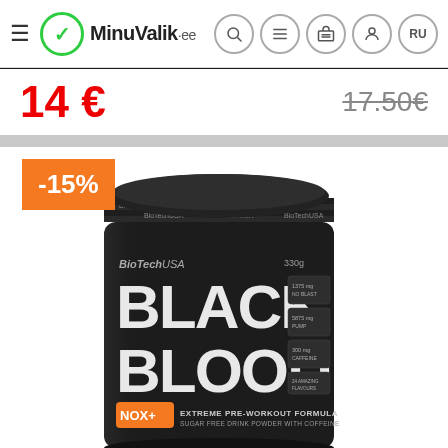MinuValik.ee
14 €
17.50€
-15%
[Figure (photo): BioTechUSA Black Blood NOX+ Extreme Pre-Workout Formula supplement jar, 330g, black canister with silver text]